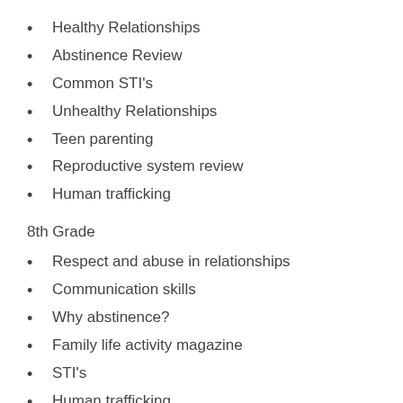Healthy Relationships
Abstinence Review
Common STI's
Unhealthy Relationships
Teen parenting
Reproductive system review
Human trafficking
8th Grade
Respect and abuse in relationships
Communication skills
Why abstinence?
Family life activity magazine
STI's
Human trafficking
9th Grade